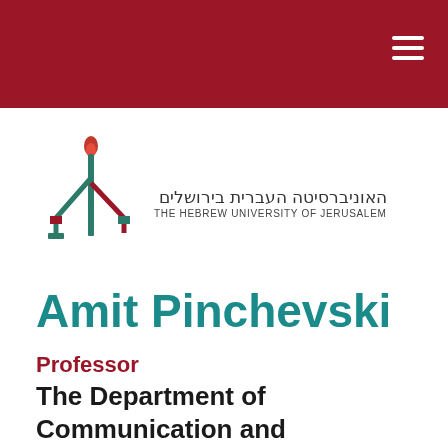[Figure (logo): Hebrew University of Jerusalem logo with torch and text in Hebrew and English]
Amit Pinchevski
Professor
The Department of Communication and Journalism